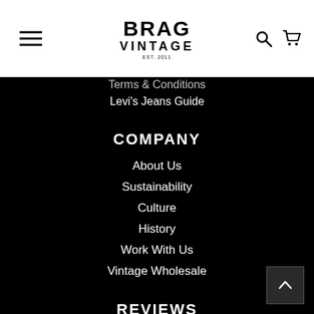BRAG VINTAGE
Terms & Conditions
Levi's Jeans Guide
COMPANY
About Us
Sustainability
Culture
History
Work With Us
Vintage Wholesale
REVIEWS
Google Reviews
Facebook Reviews